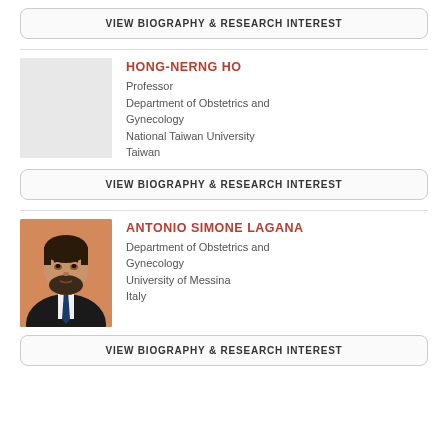VIEW BIOGRAPHY & RESEARCH INTEREST
HONG-NERNG HO
Professor
Department of Obstetrics and Gynecology
National Taiwan University
Taiwan
VIEW BIOGRAPHY & RESEARCH INTEREST
[Figure (photo): Headshot photo of Antonio Simone Lagana, a man with dark hair and beard wearing a dark suit and tie, against an orange-brown background.]
ANTONIO SIMONE LAGANA
Department of Obstetrics and Gynecology
University of Messina
Italy
VIEW BIOGRAPHY & RESEARCH INTEREST